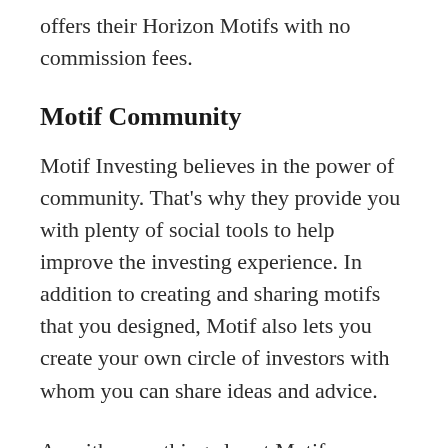offers their Horizon Motifs with no commission fees.
Motif Community
Motif Investing believes in the power of community. That’s why they provide you with plenty of social tools to help improve the investing experience. In addition to creating and sharing motifs that you designed, Motif also lets you create your own circle of investors with whom you can share ideas and advice.
As with everything else at Motif, you can totally control who you’re sharing ideas with through the privacy settings. Share your thoughts with the entire Motif community or